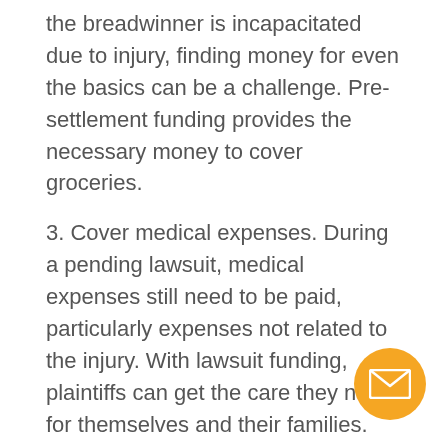the breadwinner is incapacitated due to injury, finding money for even the basics can be a challenge. Pre-settlement funding provides the necessary money to cover groceries.
3. Cover medical expenses. During a pending lawsuit, medical expenses still need to be paid, particularly expenses not related to the injury. With lawsuit funding, plaintiffs can get the care they need for themselves and their families.
4. Get around. Getting to doctor’s appointments, meetings with the lawyer, the grocery store, the children’s school all requires some sort of transportation. With the average cost of gas having risen 10 percent this year, filling up even the tank of a compact can run upwards of $40, no small amount on a tight budget.